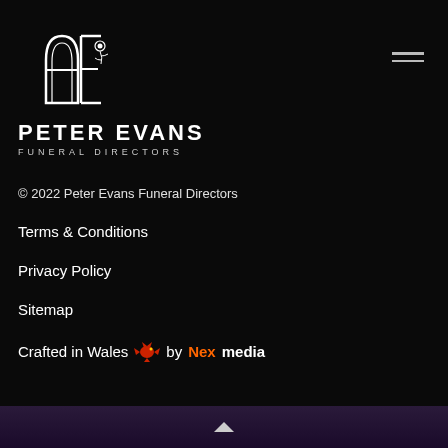[Figure (logo): Peter Evans Funeral Directors logo with stylised PE letters and rose, white on black background]
© 2022 Peter Evans Funeral Directors
Terms & Conditions
Privacy Policy
Sitemap
Crafted in Wales 🐉 by Nexmedia